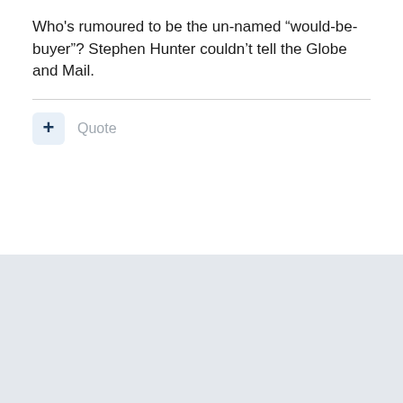Who's rumoured to be the un-named “would-be-buyer”? Stephen Hunter couldn’t tell the Globe and Mail.
Quote